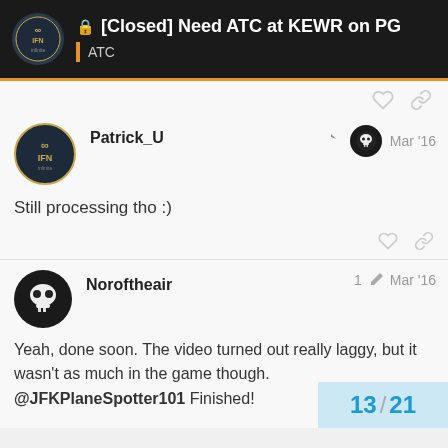[Closed] Need ATC at KEWR on PG — ATC
Still processing tho :)
Yeah, done soon. The video turned out really laggy, but it wasn't as much in the game though. @JFKPlaneSpotter101 Finished!
13 / 21